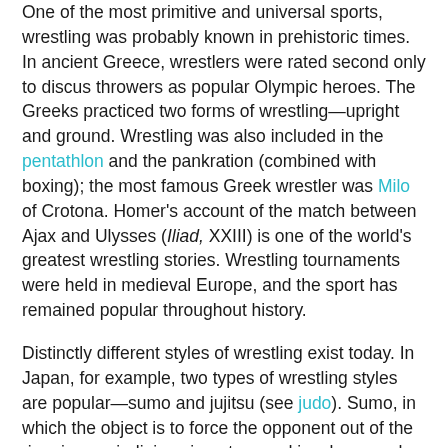One of the most primitive and universal sports, wrestling was probably known in prehistoric times. In ancient Greece, wrestlers were rated second only to discus throwers as popular Olympic heroes. The Greeks practiced two forms of wrestling—upright and ground. Wrestling was also included in the pentathlon and the pankration (combined with boxing); the most famous Greek wrestler was Milo of Crotona. Homer's account of the match between Ajax and Ulysses (Iliad, XXIII) is one of the world's greatest wrestling stories. Wrestling tournaments were held in medieval Europe, and the sport has remained popular throughout history.
Distinctly different styles of wrestling exist today. In Japan, for example, two types of wrestling styles are popular—sumo and jujitsu (see judo). Sumo, in which the object is to force the opponent out of the ring, is quasireligious in nature and involves much ritual. Most of its participants weigh 300 to 400 lb (135–180 kg). For centuries wrestling has been the center of life for the Nuba in Africa, who wrestle only after covering themselves with symbolic ash. In the traditional Turkish style